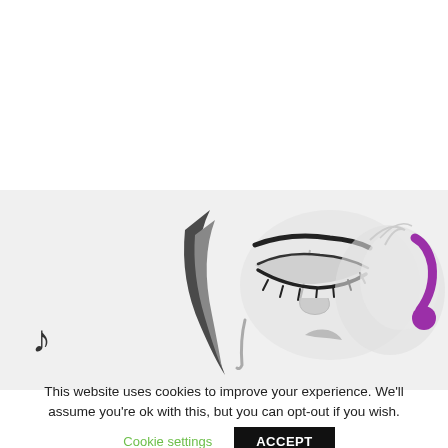[Figure (illustration): Partial illustration of a stylized face in profile/side view with grayscale tones, showing an eye with lashes, part of the nose and lips area, dark curved hair element on the left, and a purple/magenta curved shape at the right (possibly headphones). Small musical note symbol visible at lower left.]
This website uses cookies to improve your experience. We'll assume you're ok with this, but you can opt-out if you wish.
Cookie settings
ACCEPT